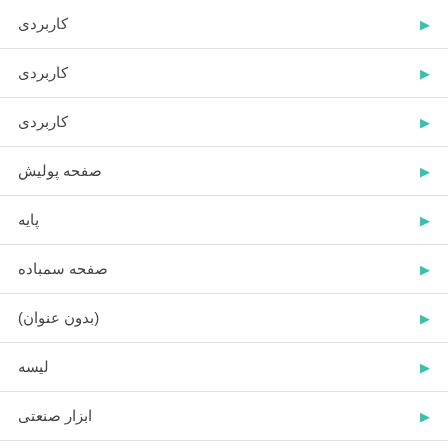کاربردی
کاربردی
کاربردی
صفحه پولیش
پایه
صفحه سمباده
(بدون عنوان)
لیسه
ابزار صنعتی
ابزار نقاشی
همزن دستی / میکسر
کاربردی